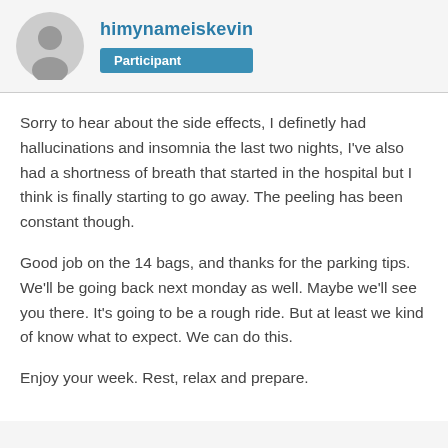himynameis kevin — Participant
Sorry to hear about the side effects, I definetly had hallucinations and insomnia the last two nights, I've also had a shortness of breath that started in the hospital but I think is finally starting to go away. The peeling has been constant though.
Good job on the 14 bags, and thanks for the parking tips. We'll be going back next monday as well. Maybe we'll see you there. It's going to be a rough ride. But at least we kind of know what to expect. We can do this.
Enjoy your week. Rest, relax and prepare.